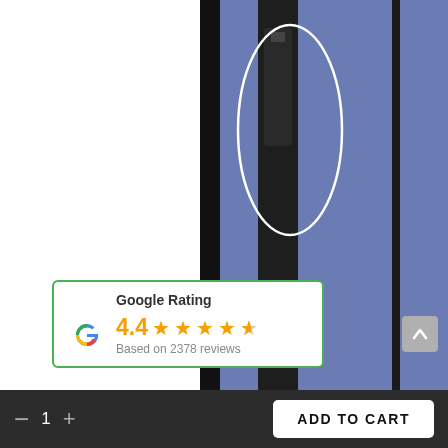[Figure (photo): Product photo showing a blue door panel with a black vertical strip and a small black electronic device mounted on it, with a white elliptical highlight circle drawn around the device.]
Google Rating
4.4 ★★★★☆ Based on 2378 reviews
- 1 + ADD TO CART